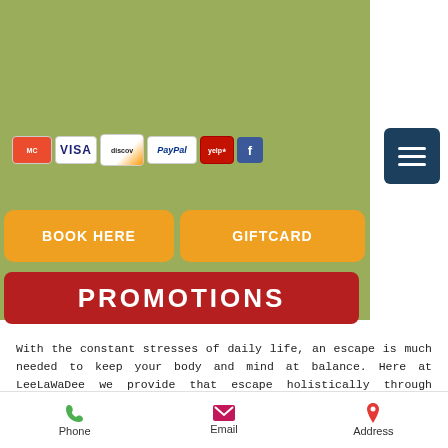[Figure (screenshot): Payment method badges: MasterCard, VISA, Discover, PayPal, Yelp, Facebook]
[Figure (other): Hamburger menu button (three horizontal lines) on dark teal background]
BOOK HERE
GIFTCARD
PROMOTIONS
With the constant stresses of daily life, an escape is much needed to keep your body and mind at balance. Here at LeeLaWaDee we provide that escape holistically through traditional Thai massage in Mountain View. Thai massage is a type of oriental body therapy that is based on the treatment of the human body, mind and spirit. It is highly therapeutic, focusing on the pressure points, energy lines, breath and basic body forces. The Thai massage offered at LeeLaWaDee is a
Phone   Email   Address